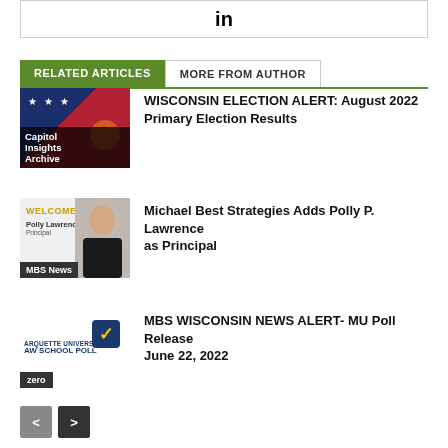[Figure (logo): LinkedIn icon in a bordered box]
RELATED ARTICLES	MORE FROM AUTHOR
[Figure (photo): Capitol Insights Archive thumbnail with American flag background]
WISCONSIN ELECTION ALERT: August 2022 Primary Election Results
[Figure (photo): MBS News thumbnail with Polly Lawrence welcome photo]
Michael Best Strategies Adds Polly P. Lawrence as Principal
[Figure (photo): Marquette University Law School Poll thumbnail with zero badge]
MBS WISCONSIN NEWS ALERT- MU Poll Release June 22, 2022